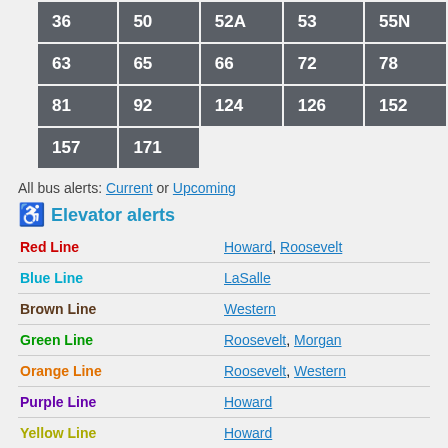| 36 | 50 | 52A | 53 | 55N |
| 63 | 65 | 66 | 72 | 78 |
| 81 | 92 | 124 | 126 | 152 |
| 157 | 171 |  |  |  |
All bus alerts: Current or Upcoming
Elevator alerts
| Line | Stations |
| --- | --- |
| Red Line | Howard, Roosevelt |
| Blue Line | LaSalle |
| Brown Line | Western |
| Green Line | Roosevelt, Morgan |
| Orange Line | Roosevelt, Western |
| Purple Line | Howard |
| Yellow Line | Howard |
| Pink Line | Morgan |